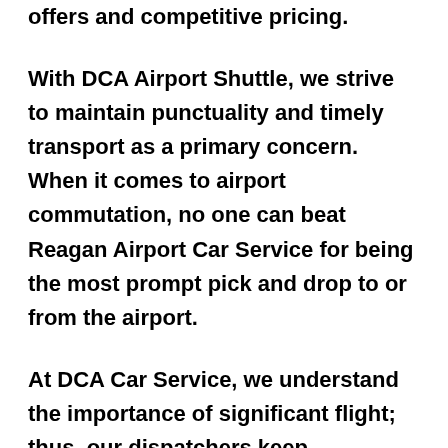offers and competitive pricing.
With DCA Airport Shuttle, we strive to maintain punctuality and timely transport as a primary concern. When it comes to airport commutation, no one can beat Reagan Airport Car Service for being the most prompt pick and drop to or from the airport.
At DCA Car Service, we understand the importance of significant flight; thus, our dispatchers keep monitoring the flight status and accordingly schedule the door-step pick-up facility. If you have booked us for DCA Airport Transportation from Robesonia, PA, our diligent and knowledgeable driver, make sure to pick the shortest route possible